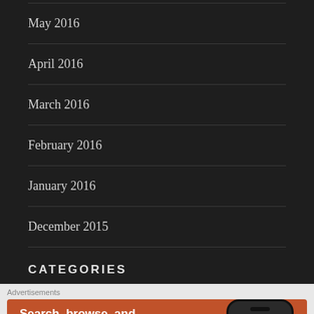May 2016
April 2016
March 2016
February 2016
January 2016
December 2015
CATEGORIES
Advertisements
[Figure (illustration): DuckDuckGo advertisement banner on orange background showing 'Search, browse, and email with more privacy. All in One Free App' with a phone mockup displaying the DuckDuckGo logo]